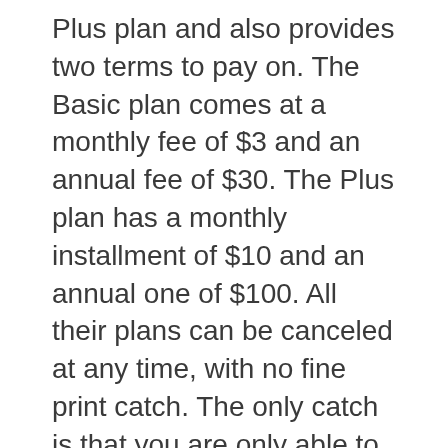Plus plan and also provides two terms to pay on. The Basic plan comes at a monthly fee of $3 and an annual fee of $30. The Plus plan has a monthly installment of $10 and an annual one of $100. All their plans can be canceled at any time, with no fine print catch. The only catch is that you are only able to record a total of 60 full days, so choose your favorite child to record. These prices are also way cheaper than the competition.
These Protect plans also cover different amounts of Ring devices. The Basic plan basically covers only one Ring doorbell or one security camera. The Plus covers all Ring devices, but only at one address, so don't get